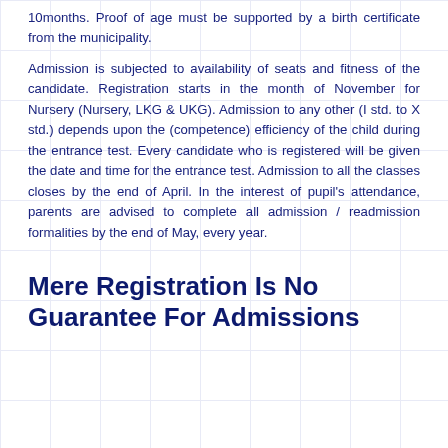10months. Proof of age must be supported by a birth certificate from the municipality.
Admission is subjected to availability of seats and fitness of the candidate. Registration starts in the month of November for Nursery (Nursery, LKG & UKG). Admission to any other (I std. to X std.) depends upon the (competence) efficiency of the child during the entrance test. Every candidate who is registered will be given the date and time for the entrance test. Admission to all the classes closes by the end of April. In the interest of pupil's attendance, parents are advised to complete all admission / readmission formalities by the end of May, every year.
Mere Registration Is No Guarantee For Admissions